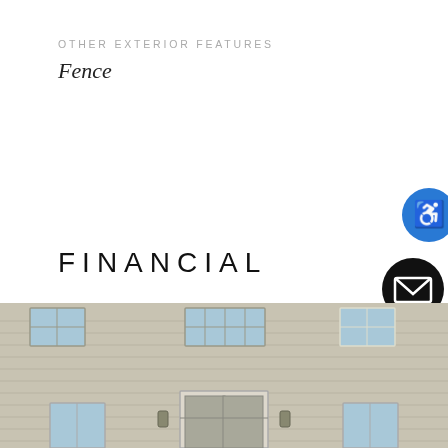OTHER EXTERIOR FEATURES
Fence
FINANCIAL
SALES PRICE
$219,900
[Figure (photo): Exterior photo of a residential house with beige vinyl siding, windows, and an entry door with wall-mounted lantern lights.]